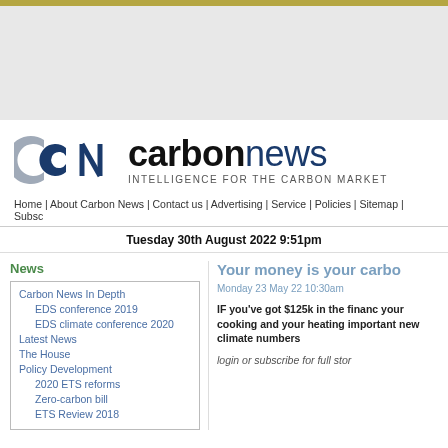[Figure (other): Advertisement banner area with grey background and olive/gold top border]
[Figure (logo): Carbon News logo: CN icon in blue/grey circles, 'carbon' in black bold, 'news' in dark blue, tagline INTELLIGENCE FOR THE CARBON MARKET]
Home | About Carbon News | Contact us | Advertising | Service | Policies | Sitemap | Subsc
Tuesday 30th August 2022 9:51pm
News
Carbon News In Depth
EDS conference 2019
EDS climate conference 2020
Latest News
The House
Policy Development
2020 ETS reforms
Zero-carbon bill
ETS Review 2018
Your money is your carbo
Monday 23 May 22 10:30am
IF you've got $125k in the financ your cooking and your heating important new climate numbers
login or subscribe for full stor